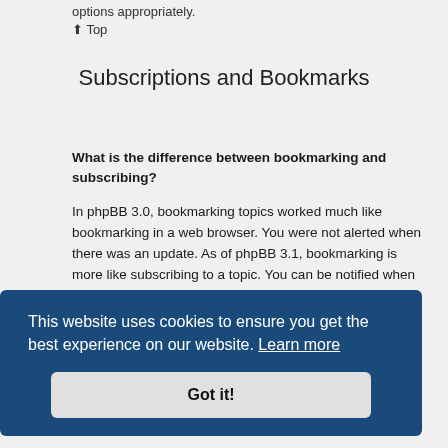options appropriately.
↑ Top
Subscriptions and Bookmarks
What is the difference between bookmarking and subscribing?
In phpBB 3.0, bookmarking topics worked much like bookmarking in a web browser. You were not alerted when there was an update. As of phpBB 3.1, bookmarking is more like subscribing to a topic. You can be notified when a bookmarked topic is updated. Subscribing, however, will notify you when …ation …d in
This website uses cookies to ensure you get the best experience on our website. Learn more
Got it!
How do I bookmark or subscribe to specific topics?